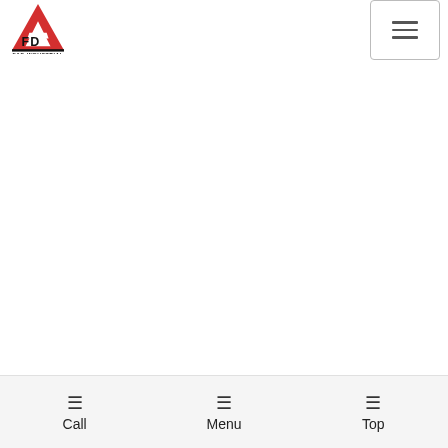F&D Industrial logo and navigation menu
[Figure (logo): F&D Industrial logo: red triangle with 'A' shape, 'FD' text in black, with 'F&D INDUSTRIAL' text below]
[Figure (other): Hamburger menu button (three horizontal lines) in top right corner]
Call | Menu | Top